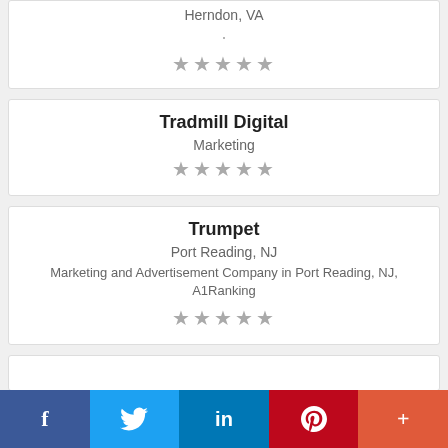Herndon, VA
·
★★★★★
Tradmill Digital
Marketing
★★★★★
Trumpet
Port Reading, NJ
Marketing and Advertisement Company in Port Reading, NJ, A1Ranking
★★★★★
f  Twitter  in  P  +